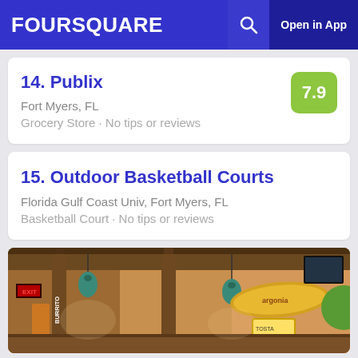FOURSQUARE  Open in App
14. Publix
Fort Myers, FL
Grocery Store · No tips or reviews
15. Outdoor Basketball Courts
Florida Gulf Coast Univ, Fort Myers, FL
Basketball Court · No tips or reviews
[Figure (photo): Interior photo of a restaurant with pendant lights, wooden pillars, orange walls, and decorative signs including a surfboard-shaped sign]